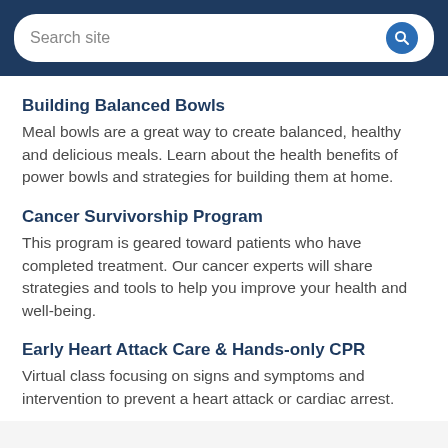Search site
Building Balanced Bowls
Meal bowls are a great way to create balanced, healthy and delicious meals. Learn about the health benefits of power bowls and strategies for building them at home.
Cancer Survivorship Program
This program is geared toward patients who have completed treatment. Our cancer experts will share strategies and tools to help you improve your health and well-being.
Early Heart Attack Care & Hands-only CPR
Virtual class focusing on signs and symptoms and intervention to prevent a heart attack or cardiac arrest.